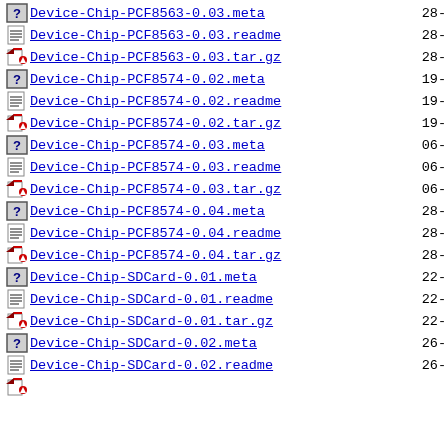Device-Chip-PCF8563-0.03.meta    28-
Device-Chip-PCF8563-0.03.readme  28-
Device-Chip-PCF8563-0.03.tar.gz  28-
Device-Chip-PCF8574-0.02.meta    19-
Device-Chip-PCF8574-0.02.readme  19-
Device-Chip-PCF8574-0.02.tar.gz  19-
Device-Chip-PCF8574-0.03.meta    06-
Device-Chip-PCF8574-0.03.readme  06-
Device-Chip-PCF8574-0.03.tar.gz  06-
Device-Chip-PCF8574-0.04.meta    28-
Device-Chip-PCF8574-0.04.readme  28-
Device-Chip-PCF8574-0.04.tar.gz  28-
Device-Chip-SDCard-0.01.meta     22-
Device-Chip-SDCard-0.01.readme   22-
Device-Chip-SDCard-0.01.tar.gz   22-
Device-Chip-SDCard-0.02.meta     26-
Device-Chip-SDCard-0.02.readme   26-